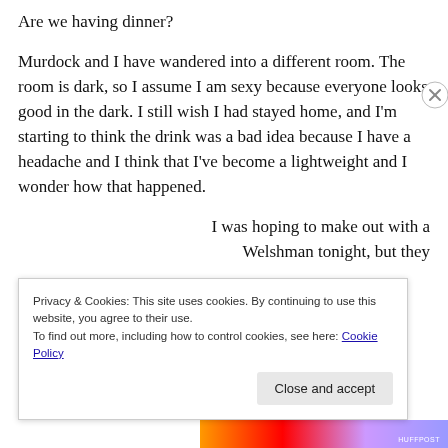Are we having dinner?
Murdock and I have wandered into a different room. The room is dark, so I assume I am sexy because everyone looks good in the dark. I still wish I had stayed home, and I'm starting to think the drink was a bad idea because I have a headache and I think that I've become a lightweight and I wonder how that happened.
I was hoping to make out with a Welshman tonight, but they
Privacy & Cookies: This site uses cookies. By continuing to use this website, you agree to their use.
To find out more, including how to control cookies, see here: Cookie Policy
Close and accept